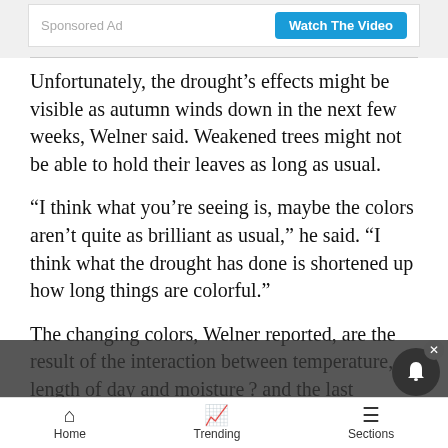Sponsored Ad | Watch The Video
Unfortunately, the drought’s effects might be visible as autumn winds down in the next few weeks, Welner said. Weakened trees might not be able to hold their leaves as long as usual.
“I think what you’re seeing is, maybe the colors aren’t quite as brilliant as usual,” he said. “I think what the drought has done is shortened up how long things are colorful.”
The changing colors, Welner reported, are the result of the interaction between temperature, length of day and moisture and the last element has been hard come by this year. So how long will local aspens be able
Home | Trending | Sections